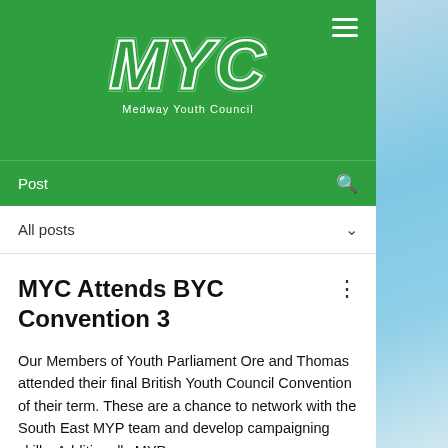[Figure (logo): Medway Youth Council (MYC) logo — large stylized white 'MYC' letters with outline/layered effect on green background, subtitle 'Medway Youth Council' below]
Post
All posts
MYC Attends BYC Convention 3
Our Members of Youth Parliament Ore and Thomas attended their final British Youth Council Convention of their term. These are a chance to network with the South East MYP team and develop campaigning skills. Additionally MYP